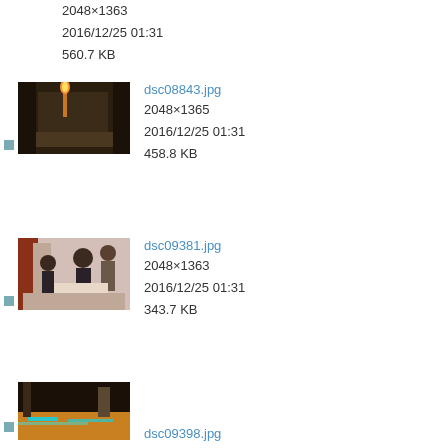2048×1363
2016/12/25 01:31
560.7 KB
[Figure (photo): Thumbnail photo dsc08843.jpg - indoor scene with orange light/flame on a table or platform]
dsc08843.jpg
2048×1365
2016/12/25 01:31
458.8 KB
[Figure (photo): Thumbnail photo dsc09381.jpg - indoor room with people gathered around a table]
dsc09381.jpg
2048×1363
2016/12/25 01:31
343.7 KB
[Figure (photo): Thumbnail photo dsc09398.jpg - indoor scene with colorful light streaks on floor]
dsc09398.jpg